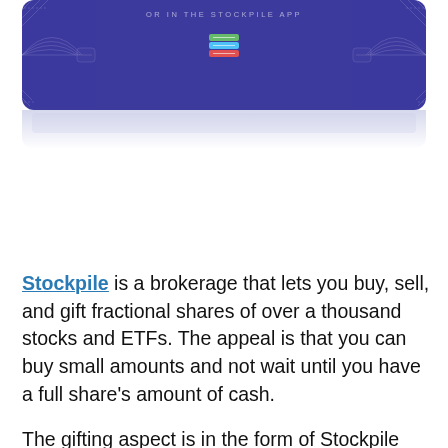[Figure (illustration): Stockpile gift card shown with ornamental design on a dark purple/indigo background, text reading 'OR IN THE STOCKPILE APP' arched at the top, with a stacked-coins icon in the center. Below the card is a light reflection/fade effect.]
Stockpile is a brokerage that lets you buy, sell, and gift fractional shares of over a thousand stocks and ETFs. The appeal is that you can buy small amounts and not wait until you have a full share's amount of cash.
The gifting aspect is in the form of Stockpile gift cards. You can give those to people, such as young investors (nieces, nephews, grandchildren, etc.), much like people use to give savings bonds or single shares of stock. They simply log into their account (or sign up) and redeem it for fractional shares of an investable